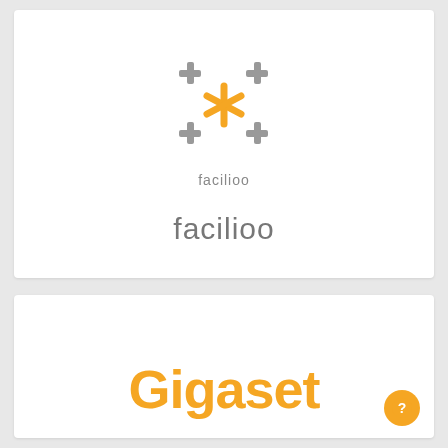[Figure (logo): Facilioo logo: four gray plus signs arranged in corners with an orange asterisk/star in the center, and the text 'facilioo' below in gray]
facilioo
[Figure (logo): Gigaset logo: the word 'Gigaset' in large bold orange text]